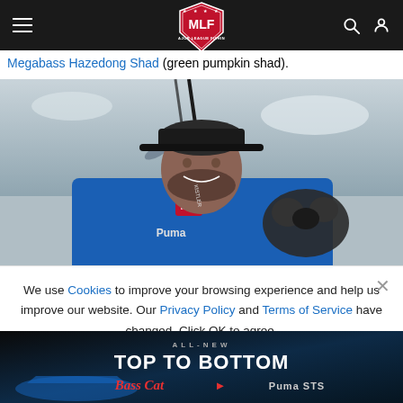MLF navigation bar with hamburger menu, MLF logo, search and user icons
Megabass Hazedong Shad (green pumpkin shad).
[Figure (photo): Fisherman in blue MLF jersey holding a fishing rod and small fluffy dog, smiling, outdoor cloudy background]
We use Cookies to improve your browsing experience and help us improve our website. Our Privacy Policy and Terms of Service have changed. Click OK to agree.
[Figure (other): Advertisement banner: ALL-NEW TOP TO BOTTOM, Bass Cat Puma STS boat brand ad on dark background]